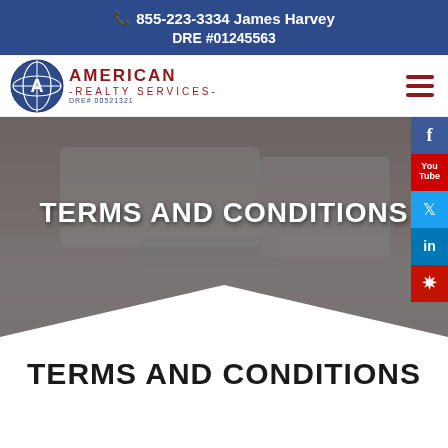855-223-3334 James Harvey DRE #01245563
[Figure (logo): American Realty Services logo with circular blue globe/letter A emblem and red text]
[Figure (photo): Living room interior with white upholstered chairs and sofa, glass coffee table, overlaid with dark semi-transparent layer. Social media icons (Facebook, YouTube, Twitter, LinkedIn, Yelp) on right sidebar.]
TERMS AND CONDITIONS
TERMS AND CONDITIONS